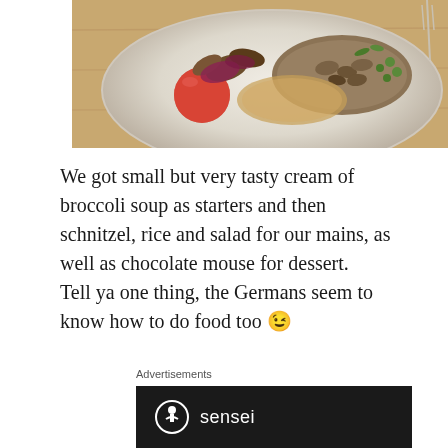[Figure (photo): A white plate with food including what appears to be schnitzel, salad with tomato, mushrooms, and greens, photographed from above on a wooden surface]
We got small but very tasty cream of broccoli soup as starters and then schnitzel, rice and salad for our mains, as well as chocolate mouse for dessert.
Tell ya one thing, the Germans seem to know how to do food too 😉
Advertisements
[Figure (logo): Sensei logo - white circle with tree/figure icon and 'sensei' text in white on dark background]